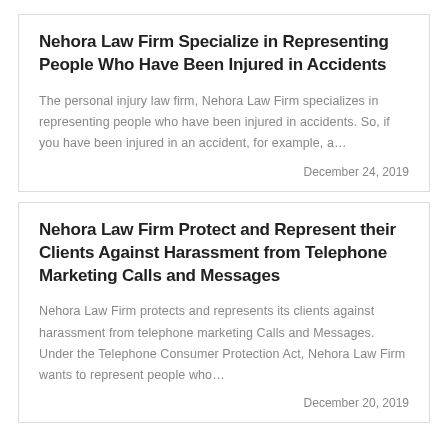Nehora Law Firm Specialize in Representing People Who Have Been Injured in Accidents
The personal injury law firm, Nehora Law Firm specializes in representing people who have been injured in accidents. So, if you have been injured in an accident, for example, a…
December 24, 2019
Nehora Law Firm Protect and Represent their Clients Against Harassment from Telephone Marketing Calls and Messages
Nehora Law Firm protects and represents its clients against harassment from telephone marketing Calls and Messages. Under the Telephone Consumer Protection Act, Nehora Law Firm wants to represent people who…
December 20, 2019